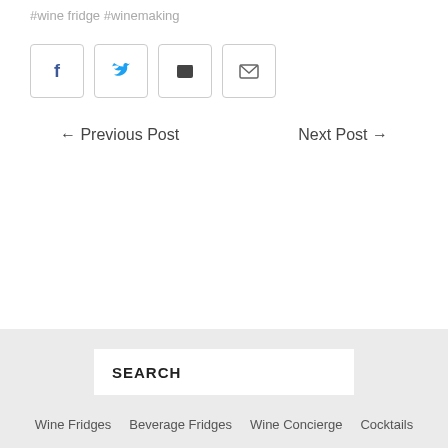#wine fridge #winemaking
[Figure (other): Social share buttons: Facebook, Twitter, Pocket, Email]
← Previous Post    Next Post →
SEARCH
Wine Fridges   Beverage Fridges   Wine Concierge   Cocktails